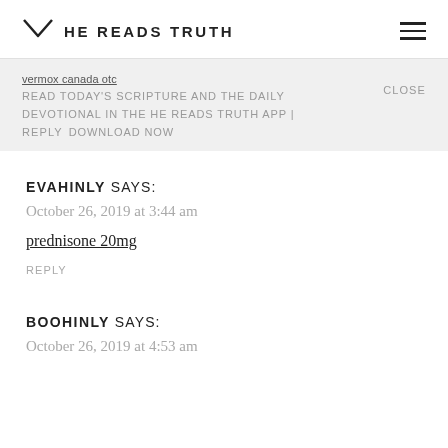HE READS TRUTH
vermox canada otc
READ TODAY'S SCRIPTURE AND THE DAILY DEVOTIONAL IN THE HE READS TRUTH APP | DOWNLOAD NOW
CLOSE
REPLY
EVAHINLY SAYS:
October 26, 2019 at 3:44 am
prednisone 20mg
REPLY
BOOHINLY SAYS:
October 26, 2019 at 4:53 am